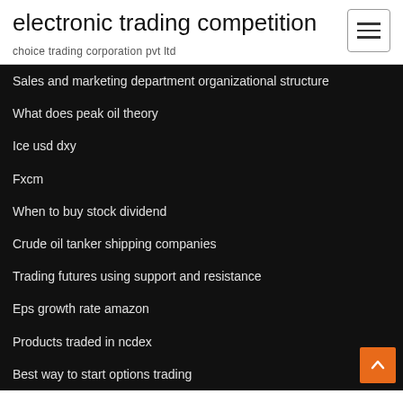electronic trading competition
choice trading corporation pvt ltd
Sales and marketing department organizational structure
What does peak oil theory
Ice usd dxy
Fxcm
When to buy stock dividend
Crude oil tanker shipping companies
Trading futures using support and resistance
Eps growth rate amazon
Products traded in ncdex
Best way to start options trading